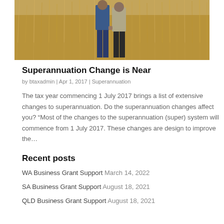[Figure (photo): Two people standing in a field of tall golden grass, viewed from behind, holding hands. One wears blue jeans and a blue jacket, the other wears a light beige jacket and dark trousers.]
Superannuation Change is Near
by btaxadmin | Apr 1, 2017 | Superannuation
The tax year commencing 1 July 2017 brings a list of extensive changes to superannuation. Do the superannuation changes affect you? “Most of the changes to the superannuation (super) system will commence from 1 July 2017. These changes are design to improve the…
Recent posts
WA Business Grant Support March 14, 2022
SA Business Grant Support August 18, 2021
QLD Business Grant Support August 18, 2021